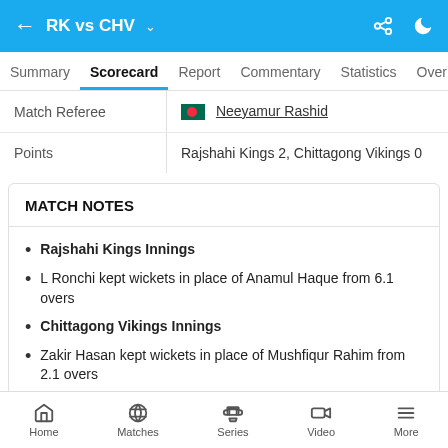RK vs CHV
Summary | Scorecard | Report | Commentary | Statistics | Over
|  |  |
| --- | --- |
| Match Referee | Neeyamur Rashid |
| Points | Rajshahi Kings 2, Chittagong Vikings 0 |
MATCH NOTES
Rajshahi Kings Innings
L Ronchi kept wickets in place of Anamul Haque from 6.1 overs
Chittagong Vikings Innings
Zakir Hasan kept wickets in place of Mushfiqur Rahim from 2.1 overs
Home  Matches  Series  Video  More